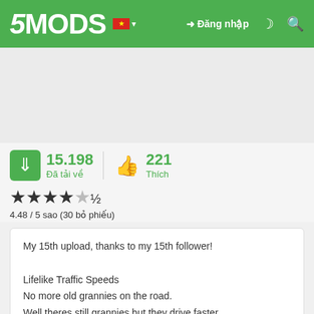5MODS | Đăng nhập
15.198 Đã tải về | 221 Thích
4.48 / 5 sao (30 bỏ phiếu)
My 15th upload, thanks to my 15th follower!

Lifelike Traffic Speeds
No more old grannies on the road.
Well theres still grannies but they drive faster.
Trust me, I used a protractor.

Mod Changes: